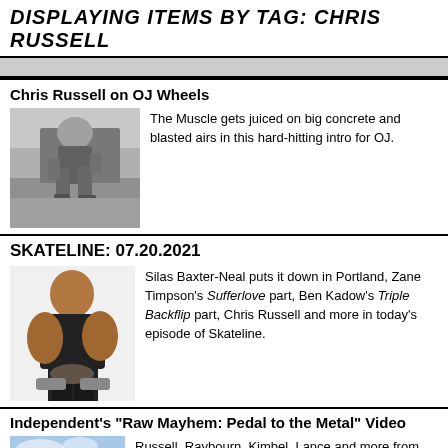DISPLAYING ITEMS BY TAG: CHRIS RUSSELL
Chris Russell on OJ Wheels
[Figure (photo): Black and white photo of a skateboarder performing a trick on a concrete ramp]
The Muscle gets juiced on big concrete and blasted airs in this hard-hitting intro for OJ.
SKATELINE: 07.20.2021
[Figure (photo): Photo of a muscular man in a black tank top holding weights, against a white background]
Silas Baxter-Neal puts it down in Portland, Zane Timpson's Sufferlove part, Ben Kadow's Triple Backflip part, Chris Russell and more in today's episode of Skateline.
Independent's "Raw Mayhem: Pedal to the Metal" Video
[Figure (photo): Photo showing a skateboarder against a blue sky background]
Russell, Raybourn, Kimbel, Lance and more from